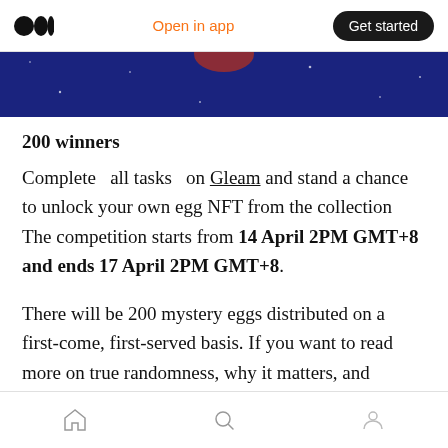Open in app   Get started
[Figure (photo): Dark blue banner image with a hand pointing, partially visible at top of article]
200 winners
Complete all tasks on Gleam and stand a chance to unlock your own egg NFT from the collection      The competition starts from 14 April 2PM GMT+8 and ends 17 April 2PM GMT+8.
There will be 200 mystery eggs distributed on a first-come, first-served basis. If you want to read more on true randomness, why it matters, and
Home  Search  Profile